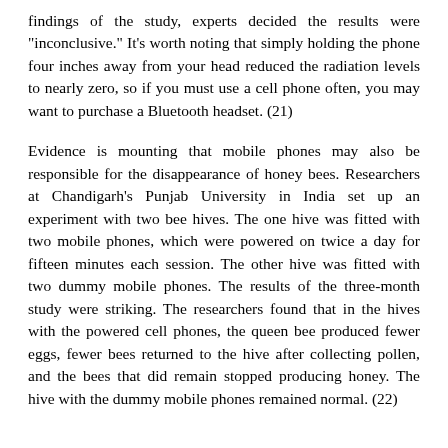findings of the study, experts decided the results were "inconclusive." It's worth noting that simply holding the phone four inches away from your head reduced the radiation levels to nearly zero, so if you must use a cell phone often, you may want to purchase a Bluetooth headset. (21)
Evidence is mounting that mobile phones may also be responsible for the disappearance of honey bees. Researchers at Chandigarh's Punjab University in India set up an experiment with two bee hives. The one hive was fitted with two mobile phones, which were powered on twice a day for fifteen minutes each session. The other hive was fitted with two dummy mobile phones. The results of the three-month study were striking. The researchers found that in the hives with the powered cell phones, the queen bee produced fewer eggs, fewer bees returned to the hive after collecting pollen, and the bees that did remain stopped producing honey. The hive with the dummy mobile phones remained normal. (22)